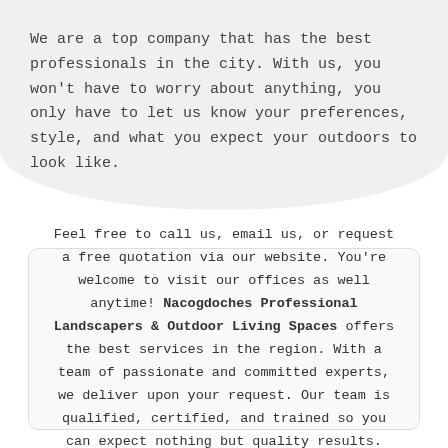We are a top company that has the best professionals in the city. With us, you won't have to worry about anything, you only have to let us know your preferences, style, and what you expect your outdoors to look like.
Feel free to call us, email us, or request a free quotation via our website. You're welcome to visit our offices as well anytime! Nacogdoches Professional Landscapers & Outdoor Living Spaces offers the best services in the region. With a team of passionate and committed experts, we deliver upon your request. Our team is qualified, certified, and trained so you can expect nothing but quality results.